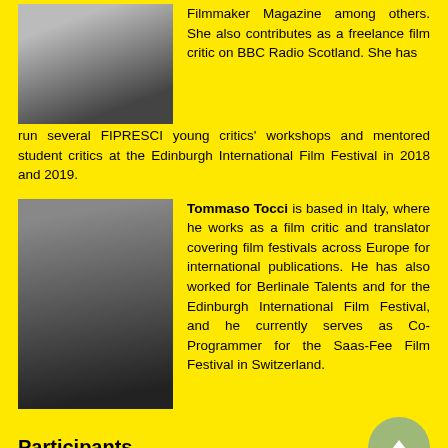[Figure (photo): Portrait photo of a woman (partial, top of head and shoulders visible)]
Filmmaker Magazine among others. She also contributes as a freelance film critic on BBC Radio Scotland. She has run several FIPRESCI young critics' workshops and mentored student critics at the Edinburgh International Film Festival in 2018 and 2019.
[Figure (photo): Portrait photo of Tommaso Tocci, a man with dark curly hair and a beard]
Tommaso Tocci is based in Italy, where he works as a film critic and translator covering film festivals across Europe for international publications. He has also worked for Berlinale Talents and for the Edinburgh International Film Festival, and he currently serves as Co-Programmer for the Saas-Fee Film Festival in Switzerland.
Participants
[Figure (photo): Portrait photo of Anna Sołowiej (partial, bottom portion visible)]
Anna Sołowiej